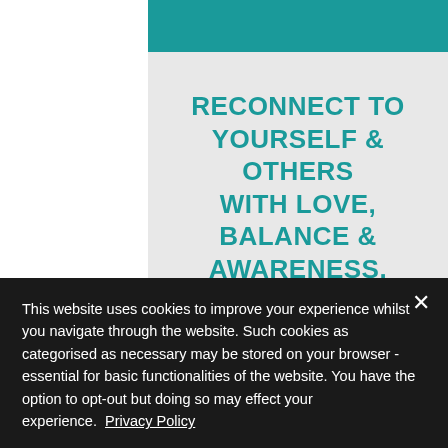RECONNECT TO YOURSELF & OTHERS WITH LOVE, BALANCE & AWARENESS.
DISARM TOXICITY; RELEASE STORED...
This website uses cookies to improve your experience whilst you navigate through the website. Such cookies as categorised as necessary may be stored on your browser - essential for basic functionalities of the website. You have the option to opt-out but doing so may effect your experience. Privacy Policy
Decline All
Accept
Settings